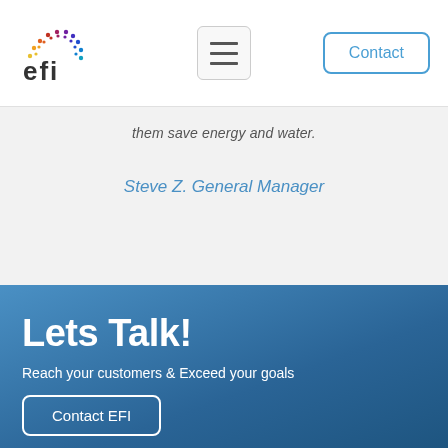[Figure (logo): EFI logo with colorful dot pattern and 'efi' text]
them save energy and water.
Steve Z. General Manager
Lets Talk!
Reach your customers & Exceed your goals
Contact EFI